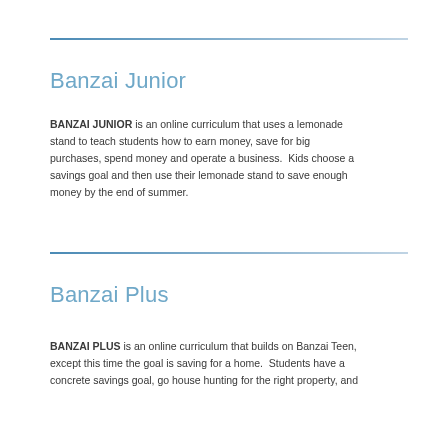Banzai Junior
BANZAI JUNIOR is an online curriculum that uses a lemonade stand to teach students how to earn money, save for big purchases, spend money and operate a business.  Kids choose a savings goal and then use their lemonade stand to save enough money by the end of summer.
Banzai Plus
BANZAI PLUS is an online curriculum that builds on Banzai Teen, except this time the goal is saving for a home.  Students have a concrete savings goal, go house hunting for the right property, and